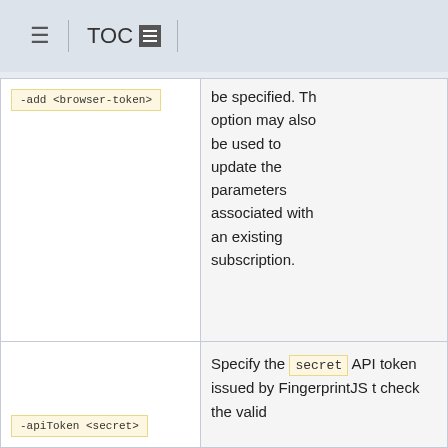TOC
| Command | Description |
| --- | --- |
| -add <browser-token> | be specified. This option may also be used to update the parameters associated with an existing subscription. |
| -apiToken <secret> | Specify the secret API token issued by FingerprintJS to check the valid... |